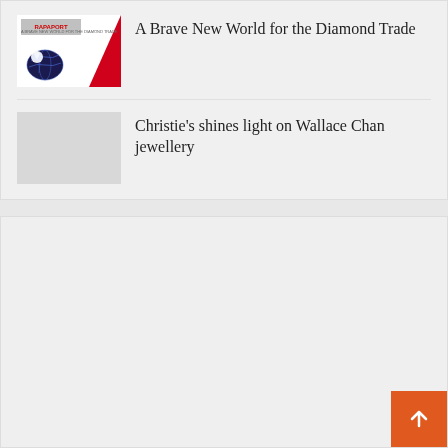[Figure (illustration): Thumbnail image for article 'A Brave New World for the Diamond Trade' showing a magazine cover with red diagonal element and a globe/earth image]
A Brave New World for the Diamond Trade
[Figure (photo): Thumbnail placeholder image (light gray) for article 'Christie’s shines light on Wallace Chan jewellery']
Christie’s shines light on Wallace Chan jewellery
[Figure (other): Large empty gray panel section below the articles, with an orange back-to-top button in the bottom-right corner containing an upward arrow]